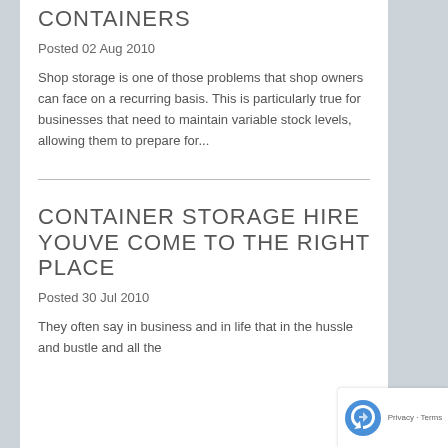CONTAINERS
Posted 02 Aug 2010
Shop storage is one of those problems that shop owners can face on a recurring basis. This is particularly true for businesses that need to maintain variable stock levels, allowing them to prepare for...
CONTAINER STORAGE HIRE YOUVE COME TO THE RIGHT PLACE
Posted 30 Jul 2010
They often say in business and in life that in the hussle and bustle and all the